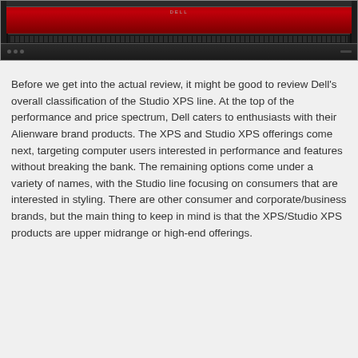[Figure (photo): Top-down view of a Dell Studio XPS laptop showing the keyboard and screen from above. The screen displays a red background. The laptop is black with a silver Dell logo.]
Before we get into the actual review, it might be good to review Dell's overall classification of the Studio XPS line. At the top of the performance and price spectrum, Dell caters to enthusiasts with their Alienware brand products. The XPS and Studio XPS offerings come next, targeting computer users interested in performance and features without breaking the bank. The remaining options come under a variety of names, with the Studio line focusing on consumers that are interested in styling. There are other consumer and corporate/business brands, but the main thing to keep in mind is that the XPS/Studio XPS products are upper midrange or high-end offerings.